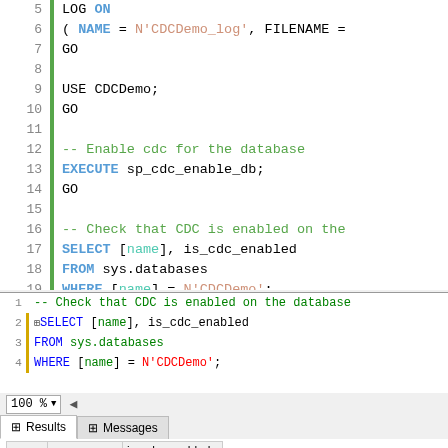[Figure (screenshot): SQL Server Management Studio code editor showing SQL script with line numbers 5-19. Lines include LOG ON, NAME/FILENAME assignment, GO, USE CDCDemo;, GO, comment to enable CDC, EXECUTE sp_cdc_enable_db;, GO, comment to check CDC enabled, SELECT [name]/is_cdc_enabled/FROM sys.databases/WHERE [name]=N'CDCDemo'; with syntax highlighting.]
[Figure (screenshot): SQL Server Management Studio query window showing 4 lines: comment, SELECT with collapse icon, FROM sys.databases, WHERE [name]=N'CDCDemo'; with yellow gutter on line 4.]
100 %
Results  Messages
| name | is_cdc_enabled |
| --- | --- |
| CDCDemo | 1 |